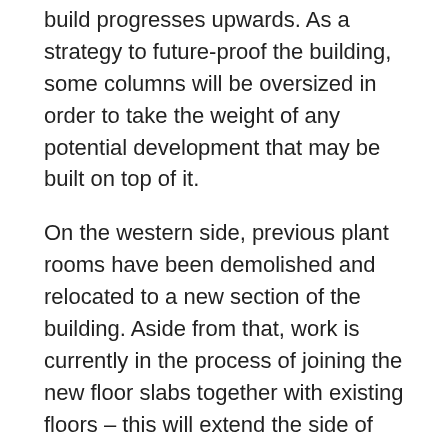build progresses upwards. As a strategy to future-proof the building, some columns will be oversized in order to take the weight of any potential development that may be built on top of it.
On the western side, previous plant rooms have been demolished and relocated to a new section of the building. Aside from that, work is currently in the process of joining the new floor slabs together with existing floors – this will extend the side of the building to the western boundary by approximately 20 metres. This extra space will allow for an exciting new bar and lounge overlooking the atrium, extra Members' amenities and a brand new dedicated back-of-house kitchen for an even greater choice of snack and drinks in the upstairs lounge.
You can keep up-to-date with all the latest